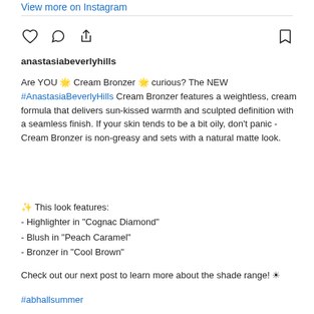View more on Instagram
anastasiabeverlyhills
Are YOU 🌟 Cream Bronzer 🌟 curious? The NEW #AnastasiaBeverlyHills Cream Bronzer features a weightless, cream formula that delivers sun-kissed warmth and sculpted definition with a seamless finish. If your skin tends to be a bit oily, don't panic - Cream Bronzer is non-greasy and sets with a natural matte look.
✨ This look features:
- Highlighter in "Cognac Diamond"
- Blush in "Peach Caramel"
- Bronzer in "Cool Brown"
Check out our next post to learn more about the shade range! ☀
#abhallsummer
Model: @soukeyna